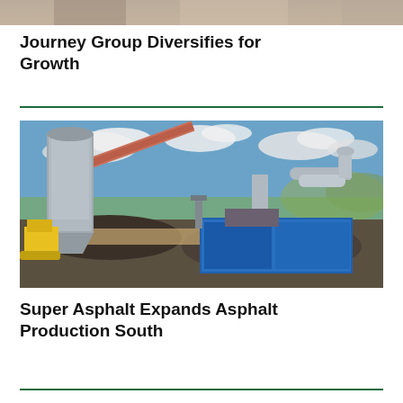[Figure (photo): Partial top image cropped at top of page, industrial/construction scene]
Journey Group Diversifies for Growth
[Figure (photo): Outdoor photograph of an asphalt plant facility showing a tall grey cylindrical silo, a long conveyor belt, a large blue rectangular asphalt mixing unit with industrial pipes and ductwork, set against a blue sky with clouds and green landscape in the background. Yellow construction equipment is visible on the left side.]
Super Asphalt Expands Asphalt Production South